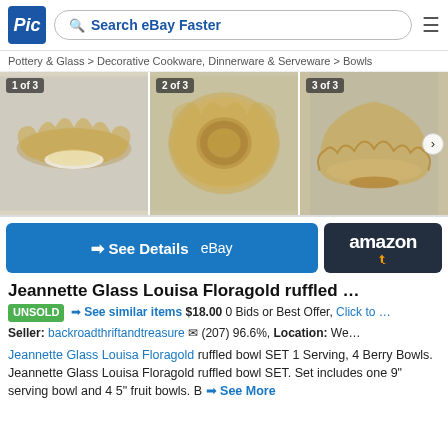Pic | Search eBay Faster
Pottery & Glass > Decorative Cookware, Dinnerware & Serveware > Bowls
[Figure (photo): Three photos of Jeannette Glass Louisa Floragold ruffled bowls: 1 of 3 top-angle view showing wavy rim, 2 of 3 bottom view showing base mark, 3 of 3 side angle view. Images labeled '1 of 3', '2 of 3', '3 of 3'.]
→ See Details eBay
amazon
Jeannette Glass Louisa Floragold ruffled …
UNSOLD → See similar items $18.00 0 Bids or Best Offer, Click to …
Seller: backroadthriftandtreasure ✉ (207) 96.6%, Location: We…
Jeannette Glass Louisa Floragold ruffled bowl SET 1 Serving, 4 Berry Bowls. Jeannette Glass Louisa Floragold ruffled bowl SET. Set includes one 9" serving bowl and 4 5" fruit bowls. B → See More